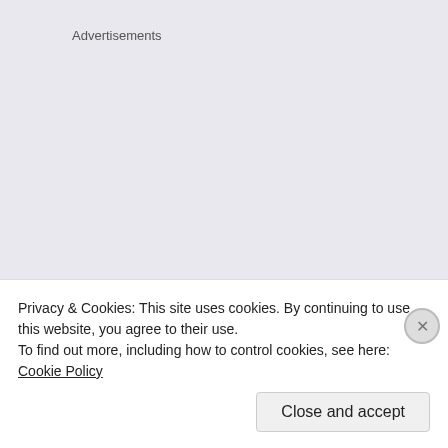Advertisements
REPORT THIS AD
Posted in Uncategorized | Tagged aickman studies, robert aickman, strange fiction | 3
Privacy & Cookies: This site uses cookies. By continuing to use this website, you agree to their use.
To find out more, including how to control cookies, see here: Cookie Policy
Close and accept